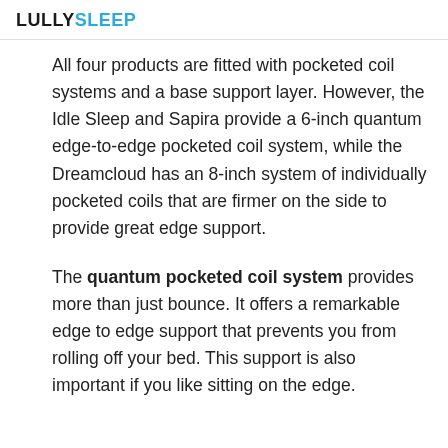LULLYSLEEP
All four products are fitted with pocketed coil systems and a base support layer. However, the Idle Sleep and Sapira provide a 6-inch quantum edge-to-edge pocketed coil system, while the Dreamcloud has an 8-inch system of individually pocketed coils that are firmer on the side to provide great edge support.
The quantum pocketed coil system provides more than just bounce. It offers a remarkable edge to edge support that prevents you from rolling off your bed. This support is also important if you like sitting on the edge.